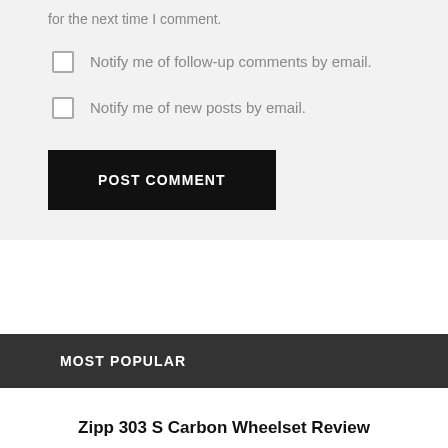for the next time I comment.
Notify me of follow-up comments by email.
Notify me of new posts by email.
POST COMMENT
MOST POPULAR
Zipp 303 S Carbon Wheelset Review